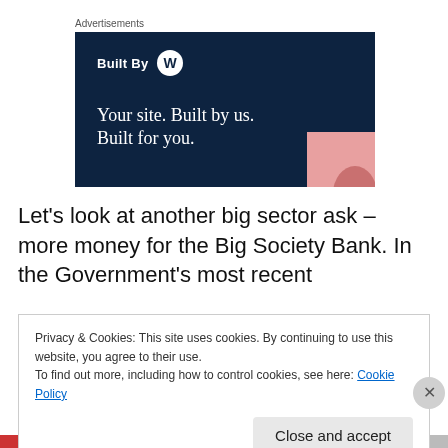Advertisements
[Figure (illustration): WordPress advertisement banner with dark navy background. Shows 'Built By' with WordPress logo, and text 'Your site. Built by us. Built for you.' with a pink box in the bottom right corner.]
Let’s look at another big sector ask – more money for the Big Society Bank. In the Government’s most recent
Privacy & Cookies: This site uses cookies. By continuing to use this website, you agree to their use.
To find out more, including how to control cookies, see here: Cookie Policy
[Close and accept]